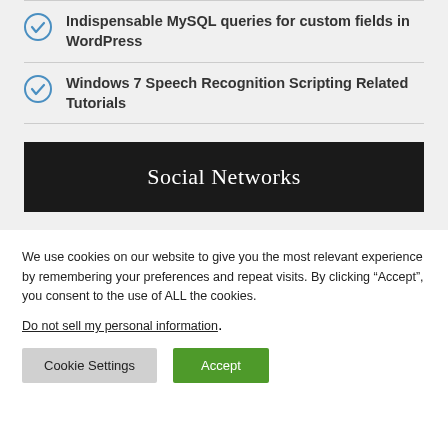Indispensable MySQL queries for custom fields in WordPress
Windows 7 Speech Recognition Scripting Related Tutorials
Social Networks
We use cookies on our website to give you the most relevant experience by remembering your preferences and repeat visits. By clicking “Accept”, you consent to the use of ALL the cookies.
Do not sell my personal information.
Cookie Settings  Accept